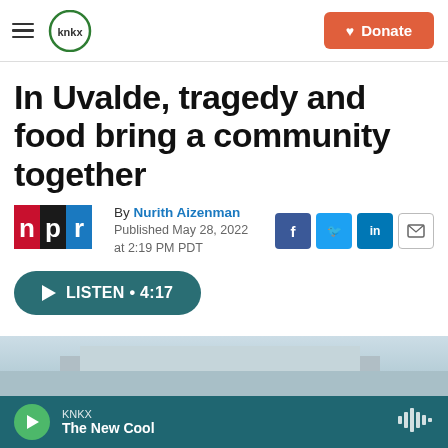KNKX | Donate
In Uvalde, tragedy and food bring a community together
By Nurith Aizenman
Published May 28, 2022 at 2:19 PM PDT
LISTEN • 4:17
[Figure (photo): Partial view of a building exterior, bottom of article image]
KNKX — The New Cool